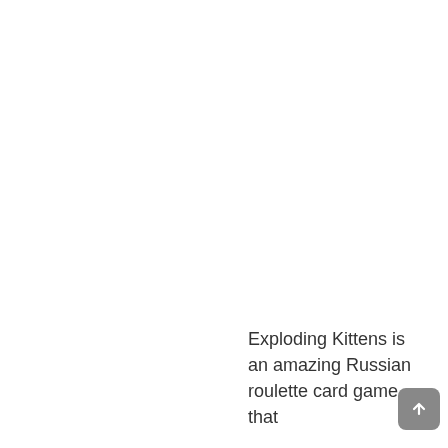Exploding Kittens is an amazing Russian roulette card game that